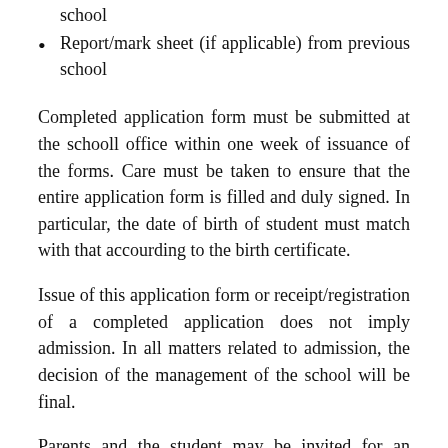school
Report/mark sheet (if applicable) from previous school
Completed application form must be submitted at the schooll office within one week of issuance of the forms. Care must be taken to ensure that the entire application form is filled and duly signed. In particular, the date of birth of student must match with that accourding to the birth certificate.
Issue of this application form or receipt/registration of a completed application does not imply admission. In all matters related to admission, the decision of the management of the school will be final.
Parents and the student may be invited for an interaction with school management during the admissions process. Dates for the same will be duly notified.